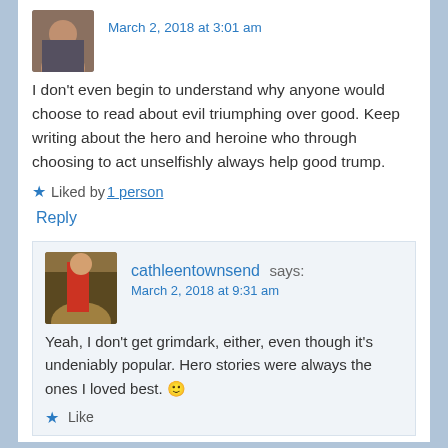March 2, 2018 at 3:01 am
I don't even begin to understand why anyone would choose to read about evil triumphing over good. Keep writing about the hero and heroine who through choosing to act unselfishly always help good trump.
Liked by 1 person
Reply
cathleentownsend says:
March 2, 2018 at 9:31 am
Yeah, I don't get grimdark, either, even though it's undeniably popular. Hero stories were always the ones I loved best. 🙂
Like